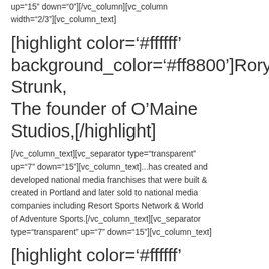up="15" down="0"][/vc_column][vc_column width="2/3"][vc_column_text]
[highlight color='#ffffff' background_color='#ff8800']Rory Strunk,
The founder of O'Maine Studios,[/highlight]
[/vc_column_text][vc_separator type="transparent" up="7" down="15"][vc_column_text]...has created and developed national media franchises that were built & created in Portland and later sold to national media companies including Resort Sports Network & World of Adventure Sports.[/vc_column_text][vc_separator type="transparent" up="7" down="15"][vc_column_text]
[highlight color='#ffffff' background_color='#ff8800']To help incubate Maine...